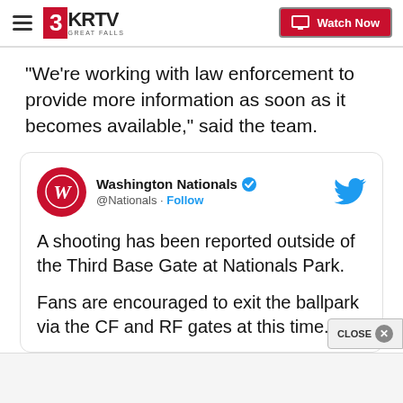3KRTV Great Falls — Watch Now
“We’re working with law enforcement to provide more information as soon as it becomes available,” said the team.
[Figure (screenshot): Embedded tweet from Washington Nationals (@Nationals) with Follow button and Twitter bird icon. Tweet text: 'A shooting has been reported outside of the Third Base Gate at Nationals Park. Fans are encouraged to exit the ballpark via the CF and RF gates at this time.']